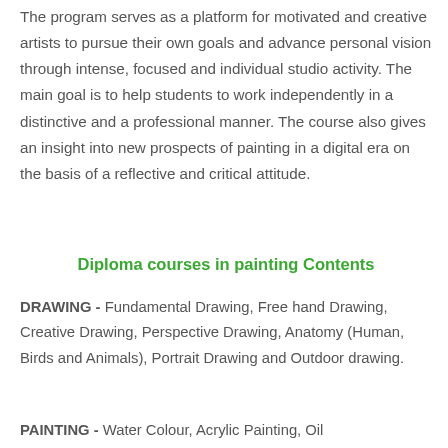The program serves as a platform for motivated and creative artists to pursue their own goals and advance personal vision through intense, focused and individual studio activity. The main goal is to help students to work independently in a distinctive and a professional manner. The course also gives an insight into new prospects of painting in a digital era on the basis of a reflective and critical attitude.
Diploma courses in painting Contents
DRAWING - Fundamental Drawing, Free hand Drawing, Creative Drawing, Perspective Drawing, Anatomy (Human, Birds and Animals), Portrait Drawing and Outdoor drawing.
PAINTING - Water Colour, Acrylic Painting, Oil